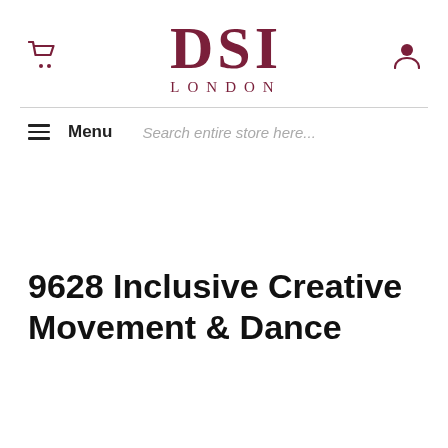DSI LONDON
Menu  Search entire store here...
9628 Inclusive Creative Movement & Dance